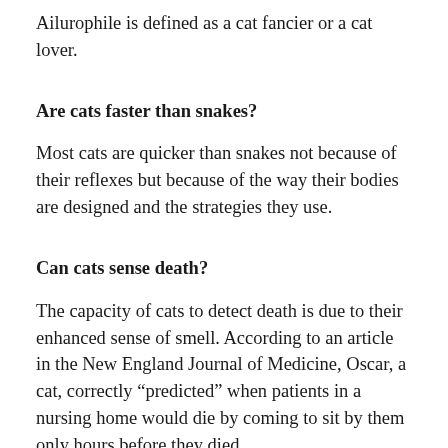Ailurophile is defined as a cat fancier or a cat lover.
Are cats faster than snakes?
Most cats are quicker than snakes not because of their reflexes but because of the way their bodies are designed and the strategies they use.
Can cats sense death?
The capacity of cats to detect death is due to their enhanced sense of smell. According to an article in the New England Journal of Medicine, Oscar, a cat, correctly “predicted” when patients in a nursing home would die by coming to sit by them only hours before they died.